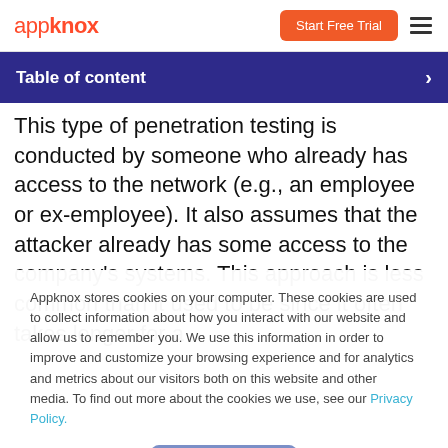appknox — Start Free Trial
Table of content
This type of penetration testing is conducted by someone who already has access to the network (e.g., an employee or ex-employee). It also assumes that the attacker already has some access to the company's systems. This approach is less common than it used to be since it often takes longer for a
Appknox stores cookies on your computer. These cookies are used to collect information about how you interact with our website and allow us to remember you. We use this information in order to improve and customize your browsing experience and for analytics and metrics about our visitors both on this website and other media. To find out more about the cookies we use, see our Privacy Policy.